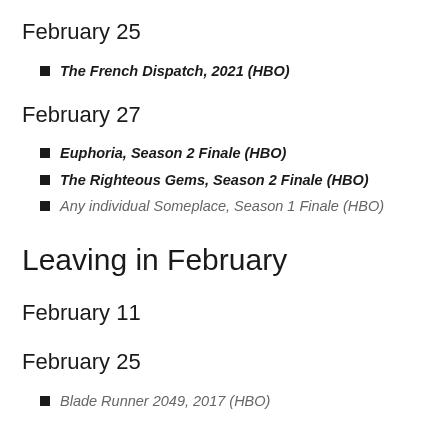February 25
The French Dispatch, 2021 (HBO)
February 27
Euphoria, Season 2 Finale (HBO)
The Righteous Gems, Season 2 Finale (HBO)
Any individual Someplace, Season 1 Finale (HBO)
Leaving in February
February 11
February 25
Blade Runner 2049, 2017 (HBO)